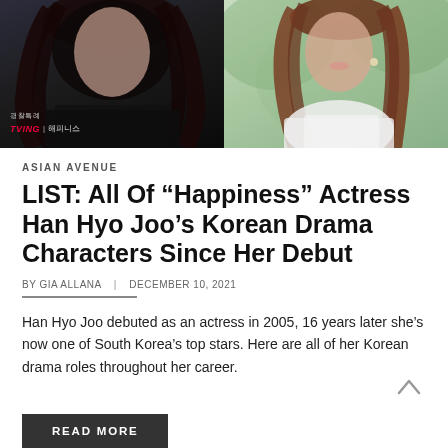[Figure (photo): Two photos side by side: left shows a woman with dark curly hair wearing a black shirt with TVING | 해피니스 text overlay (Korean drama promotional image); right shows a woman with brown wavy hair wearing a white top, photographed outdoors.]
ASIAN AVENUE
LIST: All Of “Happiness” Actress Han Hyo Joo’s Korean Drama Characters Since Her Debut
BY GIA ALLANA  |  DECEMBER 10, 2021
Han Hyo Joo debuted as an actress in 2005, 16 years later she’s now one of South Korea’s top stars. Here are all of her Korean drama roles throughout her career.
READ MORE